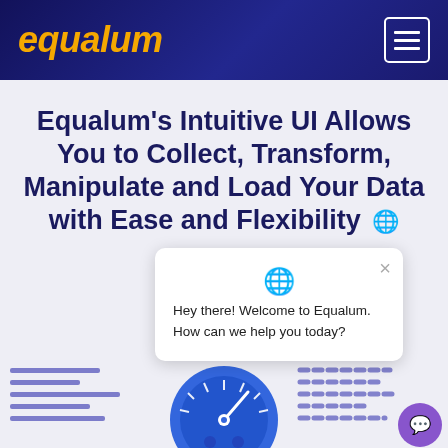equalum
Equalum's Intuitive UI Allows You to Collect, Transform, Manipulate and Load Your Data with Ease and Flexibility
[Figure (screenshot): Chat widget popup with globe icon, close button, and message: Hey there! Welcome to Equalum. How can we help you today?]
[Figure (illustration): Decorative speedometer/dashboard graphic in blue tones with horizontal lines on both sides and a purple chat FAB button in bottom right]